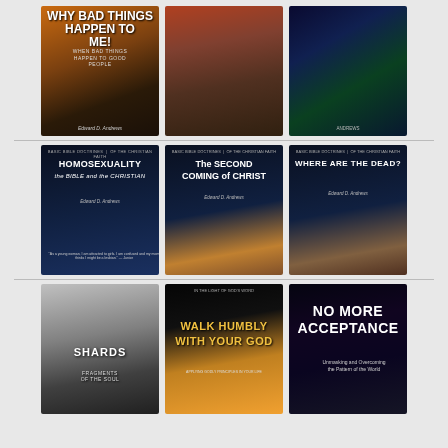[Figure (illustration): Grid of 9 book covers arranged in 3 rows of 3. Row 1: 'Why Bad Things Happen to Me! When Bad Things Happen to Good People' by Edward D. Andrews (warm sunset tones with silhouette); a dark apocalyptic city scene; a space/planets scene. Row 2: 'Homosexuality the Bible and the Christian' by Edward D. Andrews (dark blue with young girl photo); 'The Second Coming of Christ' by Edward D. Andrews (dark with woman in desert); 'Where Are the Dead?' by Edward D. Andrews (dark with resurrection scene). Row 3: 'Shards Fragments of the Soul' (black and white close-up face); 'Walk Humbly With Your God' (dark with child praying on dock, fiery sunset); 'No More Acceptance: Unmasking and Overcoming the Pattern of the World' (dark with bold white text).]